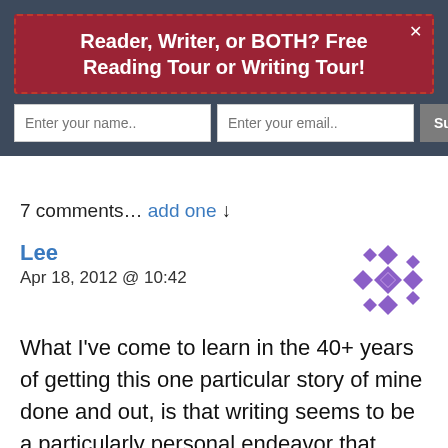Reader, Writer, or BOTH? Free Reading Tour or Writing Tour!
Enter your name.. | Enter your email.. | Subscribe Now
7 comments… add one ↓
Lee
Apr 18, 2012 @ 10:42
[Figure (illustration): Purple geometric snowflake/star avatar icon for user Lee]
What I've come to learn in the 40+ years of getting this one particular story of mine done and out, is that writing seems to be a particularly personal endeavor that does require serious commitment.
[Figure (illustration): Support me button with Ko-fi cup icon in orange]
I'm just hoping it doesn't take me another 40 years